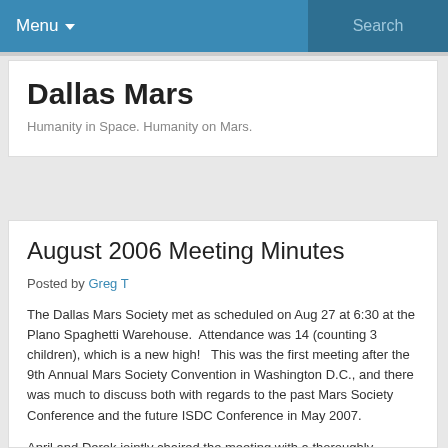Menu ▾   Search
Dallas Mars
Humanity in Space. Humanity on Mars.
August 2006 Meeting Minutes
Posted by Greg T
The Dallas Mars Society met as scheduled on Aug 27 at 6:30 at the Plano Spaghetti Warehouse.  Attendance was 14 (counting 3 children), which is a new high!   This was the first meeting after the 9th Annual Mars Society Convention in Washington D.C., and there was much to discuss both with regards to the past Mars Society Conference and the future ISDC Conference in May 2007.
April and Derek jointly chaired the meeting with a thoroughly prepared agenda, leading to a highly productive and organized meeting.  In quick summary, the highlights were: